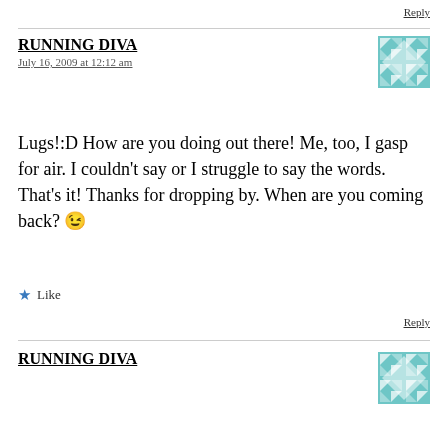Reply
RUNNING DIVA
July 16, 2009 at 12:12 am
[Figure (illustration): Teal and white geometric/quilt pattern avatar icon]
Lugs!:D How are you doing out there! Me, too, I gasp for air. I couldn't say or I struggle to say the words. That's it! Thanks for dropping by. When are you coming back? 😉
★ Like
Reply
RUNNING DIVA
[Figure (illustration): Teal and white geometric/quilt pattern avatar icon]